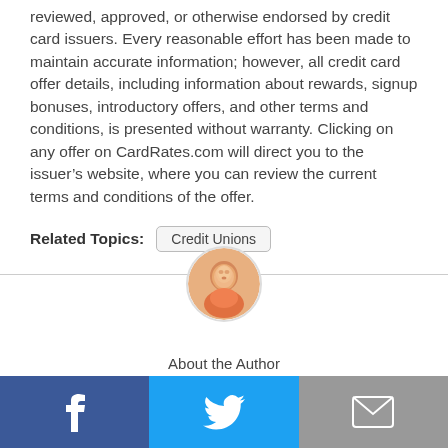reviewed, approved, or otherwise endorsed by credit card issuers. Every reasonable effort has been made to maintain accurate information; however, all credit card offer details, including information about rewards, signup bonuses, introductory offers, and other terms and conditions, is presented without warranty. Clicking on any offer on CardRates.com will direct you to the issuer's website, where you can review the current terms and conditions of the offer.
Related Topics: Credit Unions
[Figure (photo): Circular author headshot photo of a man]
About the Author